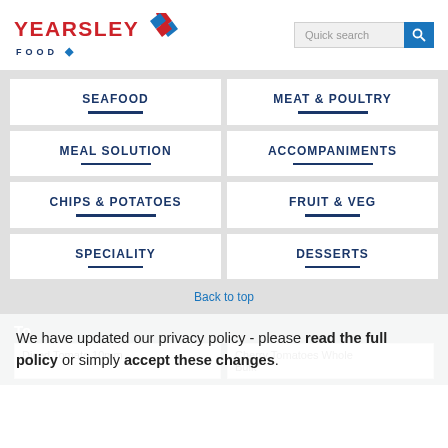[Figure (logo): Yearsley Food logo with red text and blue diamond shapes]
SEAFOOD
MEAT & POULTRY
MEAL SOLUTION
ACCOMPANIMENTS
CHIPS & POTATOES
FRUIT & VEG
SPECIALITY
DESSERTS
Back to top
We have updated our privacy policy - please read the full policy or simply accept these changes.
Diced Tomato 10mm
Cherry Tomatoes Whole Bulk